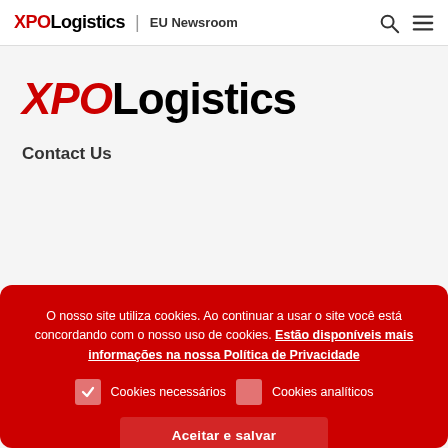XPO Logistics | EU Newsroom
XPO Logistics
Contact Us
O nosso site utiliza cookies. Ao continuar a usar o site você está concordando com o nosso uso de cookies. Estão disponíveis mais informações na nossa Política de Privacidade
Cookies necessários  Cookies analíticos
Aceitar e salvar